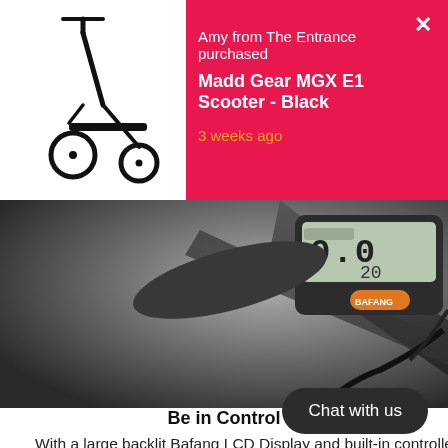Amy from The Entrance purchased
Madd Gear MGX E1 Scooter - Black
3 weeks ago
[Figure (photo): Close-up photo of an electric bike handlebar with a Bafang LCD display showing speed and other metrics, with an orange Bafang branded button visible]
Be in Control
With a large backlit Bafang LCD Display and built-in controller, speed, trip stats (max speed, average speed, trip total and odome... battery charge. You get 5 levels of power assist, with the higher nu... assista...
Chat with us